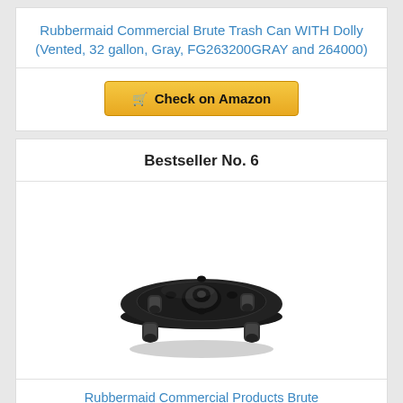Rubbermaid Commercial Brute Trash Can WITH Dolly (Vented, 32 gallon, Gray, FG263200GRAY and 264000)
🛒 Check on Amazon
Bestseller No. 6
[Figure (photo): Black round dolly/wheel platform for Rubbermaid Brute trash can, viewed from above at slight angle, showing 4 caster wheels]
Rubbermaid Commercial Products Brute